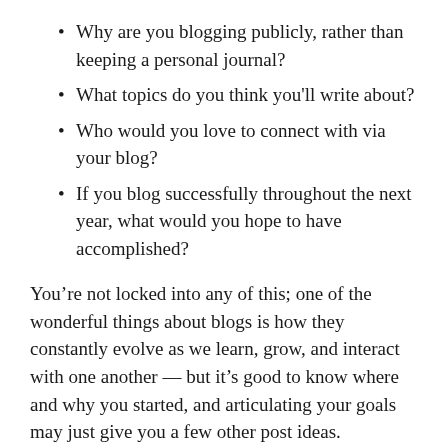Why are you blogging publicly, rather than keeping a personal journal?
What topics do you think you'll write about?
Who would you love to connect with via your blog?
If you blog successfully throughout the next year, what would you hope to have accomplished?
You’re not locked into any of this; one of the wonderful things about blogs is how they constantly evolve as we learn, grow, and interact with one another — but it’s good to know where and why you started, and articulating your goals may just give you a few other post ideas.
Can’t think how to get started? Just write the first thing that pops into your head. Anne Lamott, author of a book on writing we love, says that you need to give yourself permission to write a “crappy first draft”. Anne makes a great point — just start writing, and worry about editing it